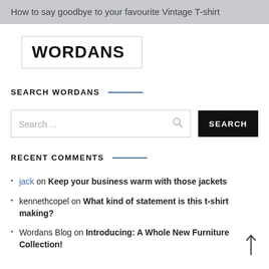How to say goodbye to your favourite Vintage T-shirt
[Figure (logo): WORDANS logo in a bordered box]
SEARCH WORDANS
Search ... [search button]
RECENT COMMENTS
jack on Keep your business warm with those jackets
kennethcopel on What kind of statement is this t-shirt making?
Wordans Blog on Introducing: A Whole New Furniture Collection!